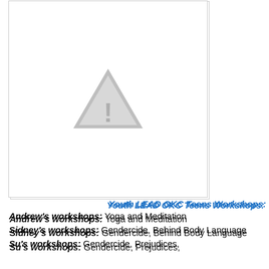[Figure (illustration): Placeholder image with grey warning triangle icon on white background, top-left card]
Youth LEAD OKC Teens Workshops:
Andrew's workshops: Yoga and Meditation
Sidney's workshops: Gendercide, Behind Body Language
Su's workshops: Gendercide, Prejudices,
[Figure (illustration): Placeholder image with grey warning triangle icon on white background, bottom card]